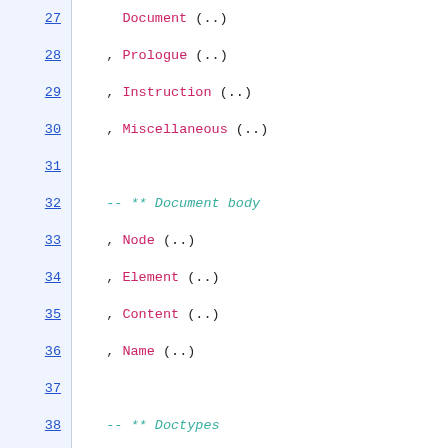27     Document (..)
28   , Prologue (..)
29   , Instruction (..)
30   , Miscellaneous (..)
31
32   -- ** Document body
33   , Node (..)
34   , Element (..)
35   , Content (..)
36   , Name (..)
37
38   -- ** Doctypes
39   , Doctype (..)
40   , ExternalID (..)
41
42   -- ** Incremental processing
43   , Event (..)
44
45   -- * Combinators
46
47   -- ** Filters